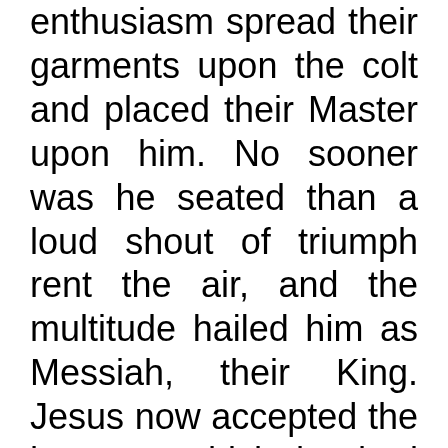enthusiasm spread their garments upon the colt and placed their Master upon him. No sooner was he seated than a loud shout of triumph rent the air, and the multitude hailed him as Messiah, their King. Jesus now accepted the homage which he had never before permitted, and his disciples received this as a proof that their glad hopes were to be realized by seeing him acknowledged at